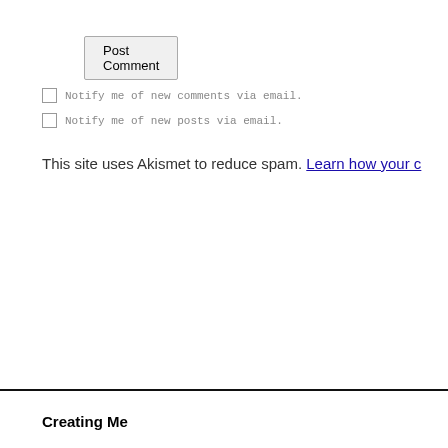Post Comment
Notify me of new comments via email.
Notify me of new posts via email.
This site uses Akismet to reduce spam. Learn how your c
Creating Me